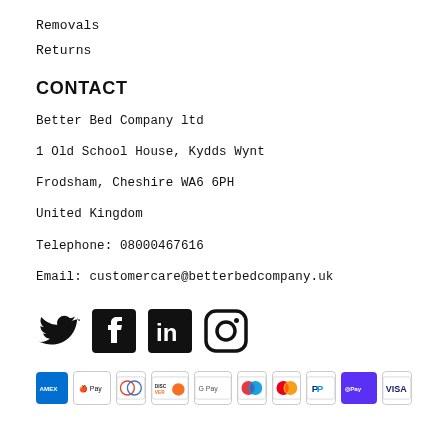Removals
Returns
CONTACT
Better Bed Company ltd
1 Old School House, Kydds Wynt
Frodsham, Cheshire WA6 6PH
United Kingdom
Telephone: 08000467616
Email: customercare@betterbedcompany.uk
[Figure (logo): Social media icons: Twitter, Facebook, LinkedIn, Instagram]
[Figure (logo): Payment method icons: Amex, Apple Pay, Diners, Discover, Google Pay, Maestro, Mastercard, PayPal, ShopPay, Visa]